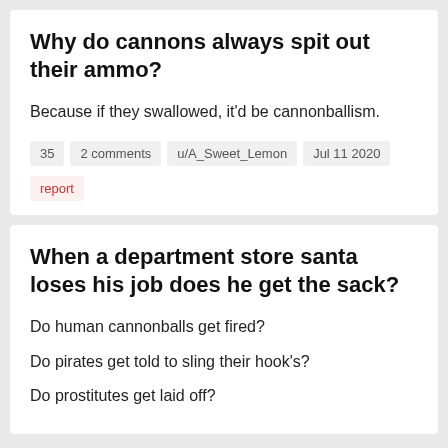Why do cannons always spit out their ammo?
Because if they swallowed, it'd be cannonballism.
35   2 comments   u/A_Sweet_Lemon   Jul 11 2020
report
When a department store santa loses his job does he get the sack?
Do human cannonballs get fired?
Do pirates get told to sling their hook's?
Do prostitutes get laid off?